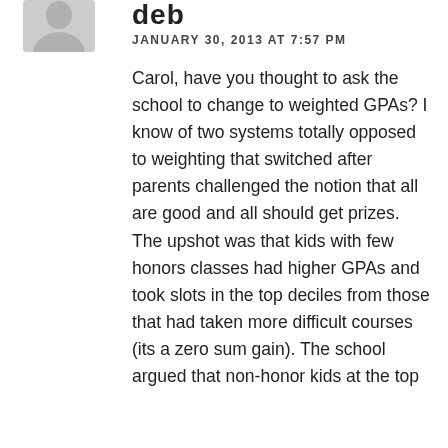[Figure (illustration): Grey avatar/profile picture placeholder showing a person silhouette]
deb
JANUARY 30, 2013 AT 7:57 PM
Carol, have you thought to ask the school to change to weighted GPAs? I know of two systems totally opposed to weighting that switched after parents challenged the notion that all are good and all should get prizes. The upshot was that kids with few honors classes had higher GPAs and took slots in the top deciles from those that had taken more difficult courses (its a zero sum gain). The school argued that non-honor kids at the top